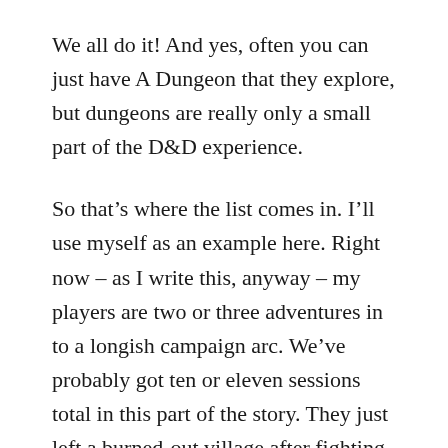We all do it! And yes, often you can just have A Dungeon that they explore, but dungeons are really only a small part of the D&D experience.
So that's where the list comes in. I'll use myself as an example here. Right now – as I write this, anyway – my players are two or three adventures in to a longish campaign arc. We've probably got ten or eleven sessions total in this part of the story. They just left a burned-out village after fighting some representative warriors from the evil horde; they're hot on the trail of some mysterious hoofprints leading away from town.
Now, as the DM, I know that the next plot point to hit is that our PCs discover some survivors from the town and learn more about the mysterious horde. They're going to